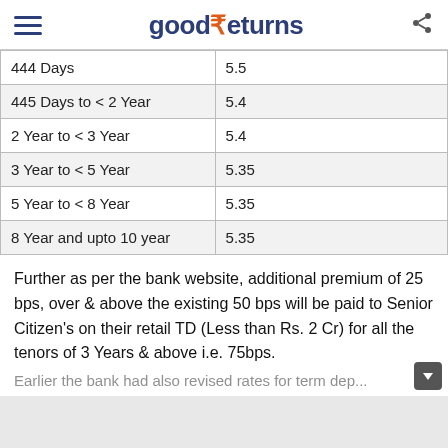good₹eturns
| 444 Days | 5.5 |
| 445 Days to < 2 Year | 5.4 |
| 2 Year to < 3 Year | 5.4 |
| 3 Year to < 5 Year | 5.35 |
| 5 Year to < 8 Year | 5.35 |
| 8 Year and upto 10 year | 5.35 |
Further as per the bank website, additional premium of 25 bps, over & above the existing 50 bps will be paid to Senior Citizen's on their retail TD (Less than Rs. 2 Cr) for all the tenors of 3 Years & above i.e. 75bps.
Earlier the bank had also revised rates for term dep...